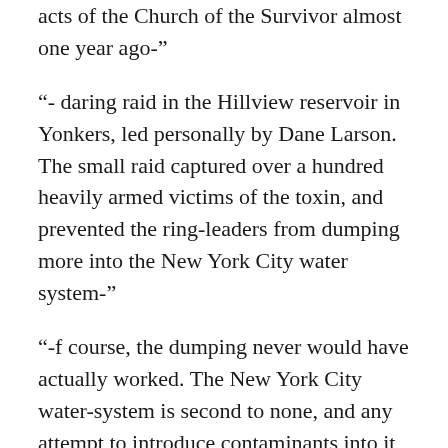acts of the Church of the Survivor almost one year ago-”
“- daring raid in the Hillview reservoir in Yonkers, led personally by Dane Larson. The small raid captured over a hundred heavily armed victims of the toxin, and prevented the ring-leaders from dumping more into the New York City water system-”
“-f course, the dumping never would have actually worked. The New York City water-system is second to none, and any attempt to introduce contaminants into it would have been stymied half a dozen times before it reached the taps of our citizenry. The Department of Environmental Protection isn’t found sleeping at the switch. Nonetheless, we want to thank Dane Larson for her